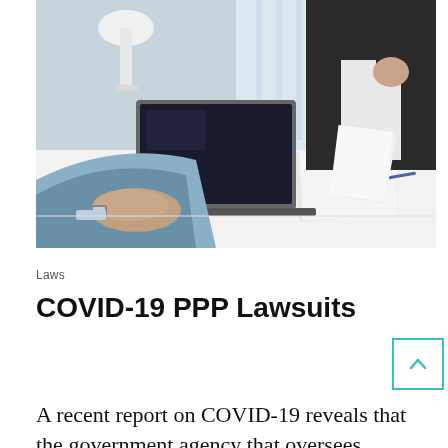[Figure (photo): Two business professionals sitting across a table in a meeting. One person in a dark suit holds papers and has their hand raised near their face. A laptop is open on the table. In the foreground, another person's clasped hands are visible, wearing a light blue shirt and watch.]
Laws
COVID-19 PPP Lawsuits
A recent report on COVID-19 reveals that the government agency that oversees